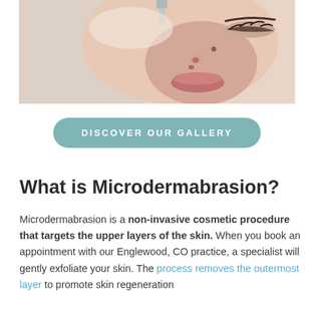[Figure (photo): Close-up photo of a woman's face receiving a microdermabrasion treatment, eyes closed, with a device visible at the top of the image]
DISCOVER OUR GALLERY
What is Microdermabrasion?
Microdermabrasion is a non-invasive cosmetic procedure that targets the upper layers of the skin. When you book an appointment with our Englewood, CO practice, a specialist will gently exfoliate your skin. The process removes the outermost layer to promote skin regeneration